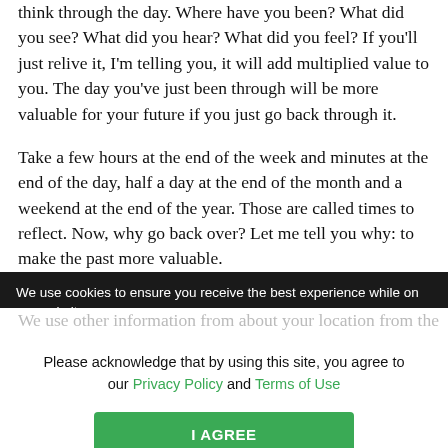think through the day. Where have you been? What did you see? What did you hear? What did you feel? If you'll just relive it, I'm telling you, it will add multiplied value to you. The day you've just been through will be more valuable for your future if you just go back through it.
Take a few hours at the end of the week and minutes at the end of the day, half a day at the end of the month and a weekend at the end of the year. Those are called times to reflect. Now, why go back over? Let me tell you why: to make the past more valuable. If you'll take the time to review what's coming...
We use cookies to ensure you receive the best experience while on our website.
Please acknowledge that by using this site, you agree to our Privacy Policy and Terms of Use
I AGREE